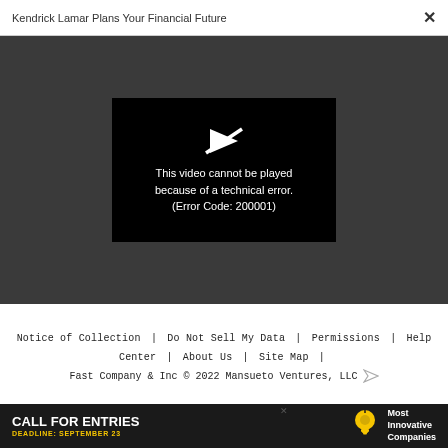Kendrick Lamar Plans Your Financial Future
[Figure (screenshot): Video player showing error: 'This video cannot be played because of a technical error. (Error Code: 200001)' on black background within dark gray modal area]
Notice of Collection | Do Not Sell My Data | Permissions | Help Center | About Us | Site Map |
Fast Company & Inc © 2022 Mansueto Ventures, LLC
[Figure (infographic): Advertisement banner: CALL FOR ENTRIES DEADLINE: SEPTEMBER 23, lightbulb icon, Most Innovative Companies]